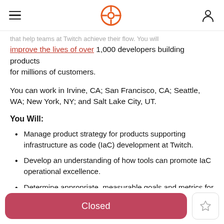[Navigation bar with hamburger menu, Twitch logo, and user icon]
that help teams at Twitch achieve their flow. You will [clipped] improve the lives of over 1,000 developers building products for millions of customers.
You can work in Irvine, CA; San Francisco, CA; Seattle, WA; New York, NY; and Salt Lake City, UT.
You Will:
Manage product strategy for products supporting infrastructure as code (IaC) development at Twitch.
Develop an understanding of how tools can promote IaC operational excellence.
Determine appropriate, measurable goals and metrics for your products to measure success.
Closed